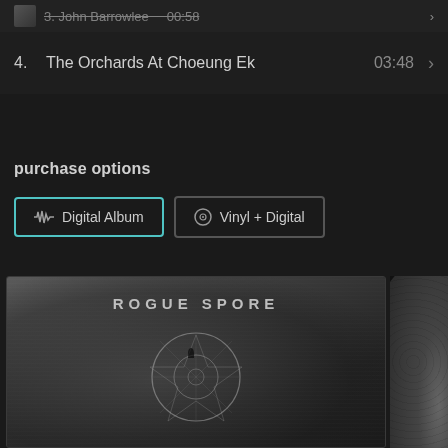3.  John Barrowlee   00:58
4.  The Orchards At Choeung Ek   03:48
purchase options
Digital Album
Vinyl + Digital
[Figure (photo): Album art for 'Rogue Spore' showing a grayscale textured image with the text ROGUE SPORE at top and an occult circular symbol/sigil in the lower center]
[Figure (photo): Partial view of a vinyl record, dark brown/black colored, visible on the right edge of the page]